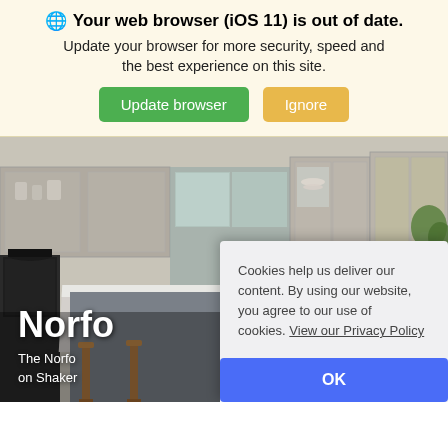🌐 Your web browser (iOS 11) is out of date. Update your browser for more security, speed and the best experience on this site. [Update browser] [Ignore]
[Figure (photo): Interior photo of a luxury Shaker-style kitchen with grey cabinetry, white marble island, wooden bar stools, and lemons on the countertop. Text overlay reads 'Norfo...' and 'The Norfo... on Shaker']
Cookies help us deliver our content. By using our website, you agree to our use of cookies. View our Privacy Policy
OK